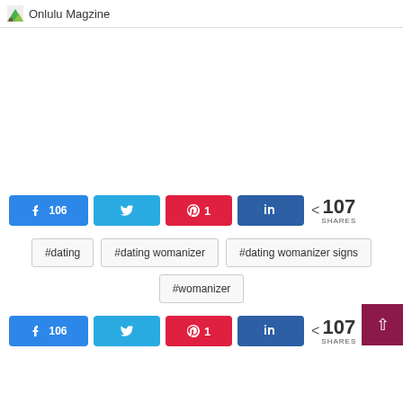Onlulu Magzine
[Figure (other): Advertisement or blank content area]
106 [Facebook share] [Twitter share] 1 [Pinterest share] [LinkedIn share] < 107 SHARES
#dating
#dating womanizer
#dating womanizer signs
#womanizer
106 [Facebook share] [Twitter share] 1 [Pinterest share] [LinkedIn share] < 107 SHARES